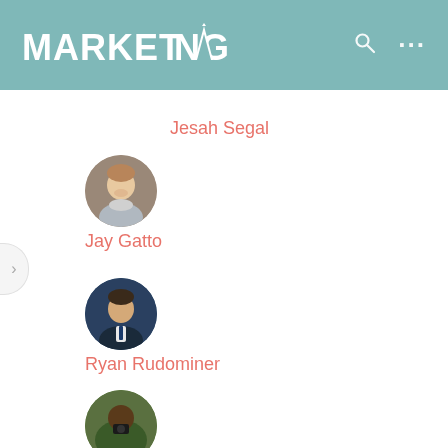[Figure (screenshot): App header with MARKETANG logo in white on teal/muted-green background, search icon and ellipsis menu icon on right]
Jesah Segal
[Figure (photo): Circular avatar photo of Jay Gatto, a smiling man with gray/blue jacket]
Jay Gatto
[Figure (photo): Circular avatar photo of Ryan Rudominer, a man in a suit with blue background]
Ryan Rudominer
[Figure (photo): Circular avatar photo of Anna Gabali, a person with camera in natural setting]
Anna Gabali
[Figure (illustration): Generic gray circular user avatar placeholder icon (no photo)]